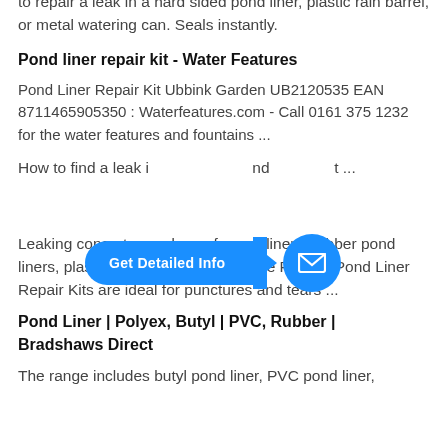to repair a leak in a hard sided pond liner, plastic rain barrel, or metal watering can. Seals instantly.
Pond liner repair kit - Water Features
Pond Liner Repair Kit Ubbink Garden UB2120535 EAN 8711465905350 : Waterfeatures.com - Call 0161 375 1232 for the water features and fountains ...
How to find a leak i... nd ... t ...
Leaking concrete ponds, preformed liners, rubber pond liners, plastic liners and clay ... These Rubber Pond Liner Repair Kits are ideal for punctures and tears ...
Pond Liner | Polyex, Butyl | PVC, Rubber | Bradshaws Direct
The range includes butyl pond liner, PVC pond liner,